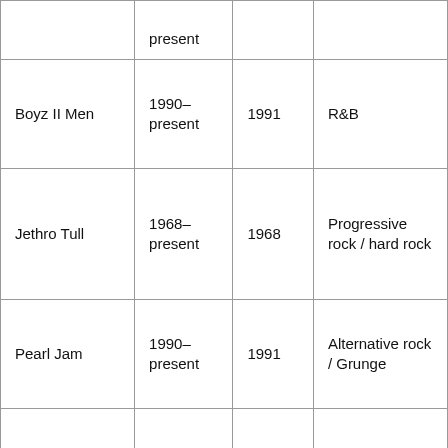| Artist | Years Active | Debut Year | Genre |
| --- | --- | --- | --- |
|  | present |  |  |
| Boyz II Men | 1990–present | 1991 | R&B |
| Jethro Tull | 1968–present | 1968 | Progressive rock / hard rock |
| Pearl Jam | 1990–present | 1991 | Alternative rock / Grunge |
| Ricky Martin | 1984–present | 1991 | Pop / Latin Pop / Dance Pop |
| Robbie Williams | 1996–present | 1996 | Pop / Pop Rock |
|  | 1986– |  |  |